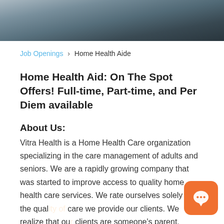[Figure (photo): Blurred photo banner at top of page showing a person in dark clothing, used as decorative header image]
Job Openings > Home Health Aide
Home Health Aid: On The Spot Offers! Full-time, Part-time, and Per Diem available
About Us:
Vitra Health is a Home Health Care organization specializing in the care management of adults and seniors. We are a rapidly growing company that was started to improve access to quality home health care services. We rate ourselves solely by the quality of care we provide our clients. We realize that our clients are someone's parent, grandparent, child,